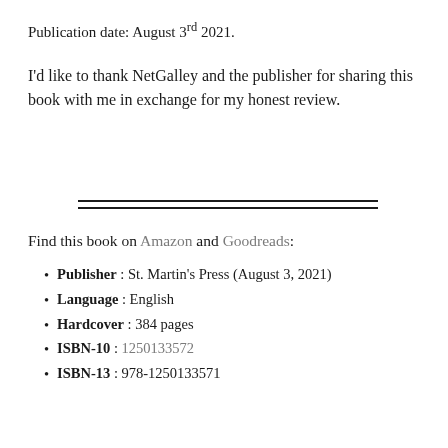Publication date: August 3rd 2021.
I'd like to thank NetGalley and the publisher for sharing this book with me in exchange for my honest review.
[Figure (other): Double horizontal rule divider]
Find this book on Amazon and Goodreads:
Publisher : St. Martin's Press (August 3, 2021)
Language : English
Hardcover : 384 pages
ISBN-10 : 1250133572
ISBN-13 : 978-1250133571